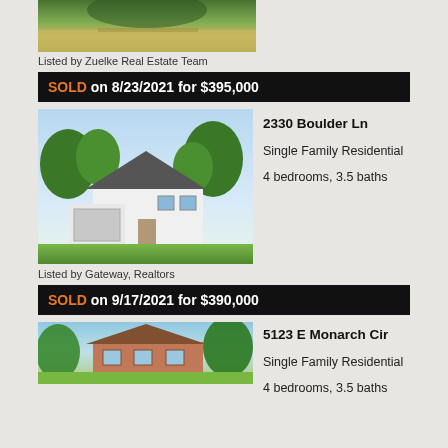[Figure (photo): Partial aerial/landscape photo of a property with green grass and field]
Listed by Zuelke Real Estate Team
SOLD on 8/23/2021 for $395,000
[Figure (photo): Two-story white single family home with dark roof, attached garage, green lawn and trees]
2330 Boulder Ln
Single Family Residential
4 bedrooms, 3.5 baths
Listed by Gateway, Realtors
SOLD on 9/17/2021 for $390,000
[Figure (photo): Partial view of a brick two-story single family home with trees]
5123 E Monarch Cir
Single Family Residential
4 bedrooms, 3.5 baths